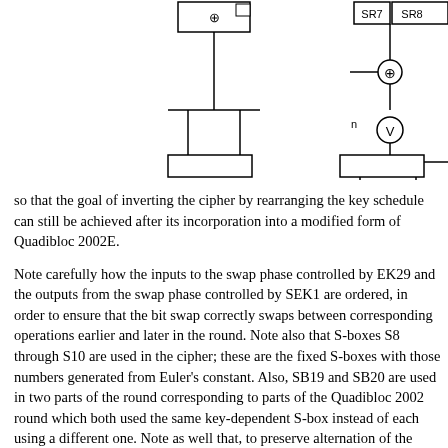[Figure (schematic): Partial view of a cipher circuit schematic showing register/S-box blocks connected by lines, XOR gates, and swap operations. Left side shows a box labeled with a plus symbol connected by vertical lines to a horizontal bus. Right side shows SR7 and SR8 blocks with an XOR gate and a V (swap) element connected by lines.]
so that the goal of inverting the cipher by rearranging the key schedule can still be achieved after its incorporation into a modified form of Quadibloc 2002E.
Note carefully how the inputs to the swap phase controlled by EK29 and the outputs from the swap phase controlled by SEK1 are ordered, in order to ensure that the bit swap correctly swaps between corresponding operations earlier and later in the round. Note also that S-boxes S8 through S10 are used in the cipher; these are the fixed S-boxes with those numbers generated from Euler's constant. Also, SB19 and SB20 are used in two parts of the round corresponding to parts of the Quadibloc 2002 round which both used the same key-dependent S-box instead of each using a different one. Note as well that, to preserve alternation of the direction in which f-functions operate, the small Feistel rounds using key-dependent S-boxes SR2 and SR3 operate from right to left. Also note the use of six unrestricted S-boxes with 16-bit entries, S-boxes SR3 through SR8, so as to follow the same principle as is used in the Quadibloc 2002E core rounds of using different S-boxes for each stage of the round.